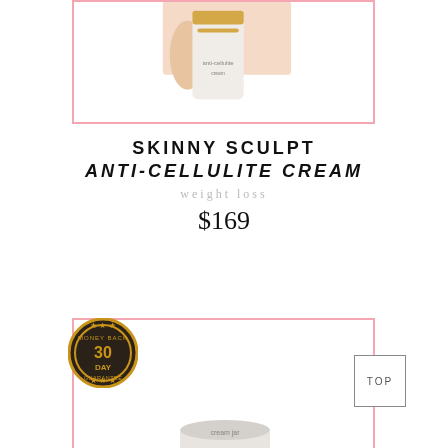[Figure (photo): Product photo of Skinny Sculpt Anti-Cellulite Cream bottle with a woman's legs visible, inside a pink-bordered card]
SKINNY SCULPT ANTI-CELLULITE CREAM
weight loss
$169
[Figure (photo): Second product card with pink border, showing a 30-Day Money Back Guarantee badge and a cream jar at the bottom, with a TOP button in the upper right]